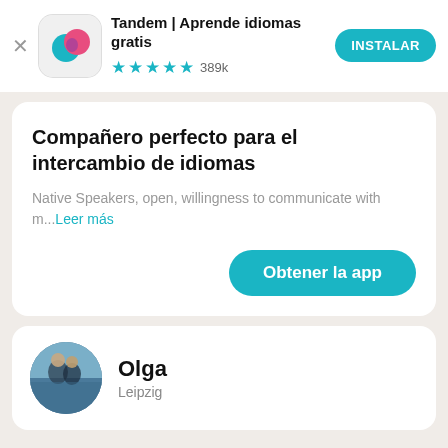[Figure (screenshot): Tandem app icon with overlapping blue and pink speech bubble shapes on white rounded square background]
Tandem | Aprende idiomas gratis
★★★★½ 389k
INSTALAR
Compañero perfecto para el intercambio de idiomas
Native Speakers, open, willingness to communicate with m...Leer más
Obtener la app
[Figure (photo): User profile photo showing a person outdoors]
Olga
Leipzig